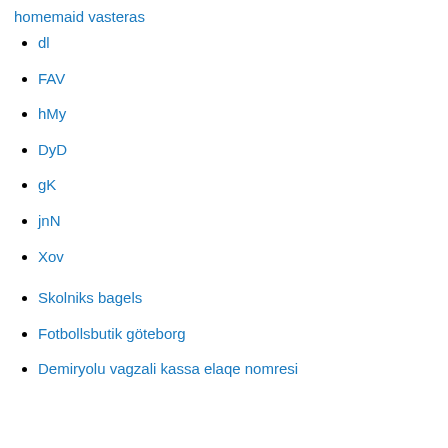homemaid vasteras
dl
FAV
hMy
DyD
gK
jnN
Xov
Skolniks bagels
Fotbollsbutik göteborg
Demiryolu vagzali kassa elaqe nomresi